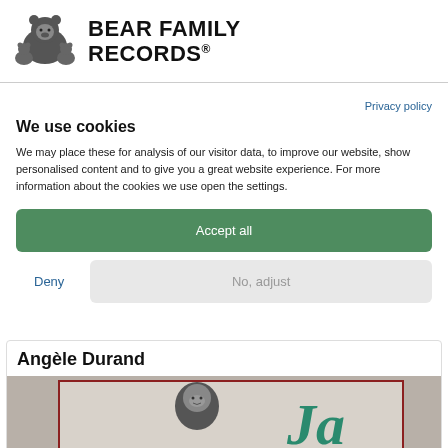[Figure (logo): Bear Family Records logo: illustration of a bear with cubs and bold text 'BEAR FAMILY RECORDS®']
Privacy policy
We use cookies
We may place these for analysis of our visitor data, to improve our website, show personalised content and to give you a great website experience. For more information about the cookies we use open the settings.
Accept all
Deny
No, adjust
Angèle Durand
[Figure (photo): Album art showing a person's face and a cursive 'Ja' text in teal/green on a light background with dark red border frame]